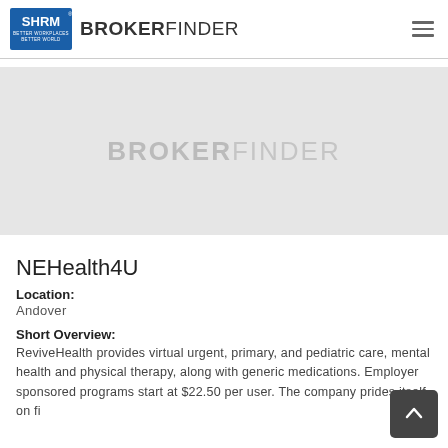SHRM BROKERFINDER
[Figure (logo): Gray placeholder box with BROKERFINDER watermark text in the center]
NEHealth4U
Location:
Andover
Short Overview:
ReviveHealth provides virtual urgent, primary, and pediatric care, mental health and physical therapy, along with generic medications. Employer sponsored programs start at $22.50 per user. The company prides itself on...